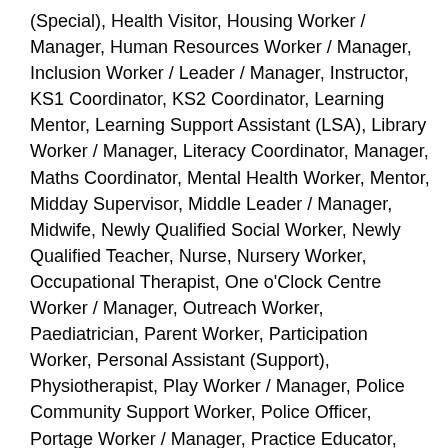(Special), Health Visitor, Housing Worker / Manager, Human Resources Worker / Manager, Inclusion Worker / Leader / Manager, Instructor, KS1 Coordinator, KS2 Coordinator, Learning Mentor, Learning Support Assistant (LSA), Library Worker / Manager, Literacy Coordinator, Manager, Maths Coordinator, Mental Health Worker, Mentor, Midday Supervisor, Middle Leader / Manager, Midwife, Newly Qualified Social Worker, Newly Qualified Teacher, Nurse, Nursery Worker, Occupational Therapist, One o'Clock Centre Worker / Manager, Outreach Worker, Paediatrician, Parent Worker, Participation Worker, Personal Assistant (Support), Physiotherapist, Play Worker / Manager, Police Community Support Worker, Police Officer, Portage Worker / Manager, Practice Educator, Premises Officer / Manager, Principal, Principal Social Worker, Probation Officer / Manager, Procurement Officer / Manager, Progress Leader, PSHE / Healthy Schools Worker, Psychiatrist, Psychologist, Reablement Worker / Coordinator, Registrar, Rehabilitation Worker / Manager, Residential Worker / Manager, School Business Manager, School Nurse, SEN Teacher, Senior Leadership Team, Sessional Worker, Sign Language Translator, Social Care Worker, Social Worker / Manager (Adults), Social Worker / Manager (Children), Special Educational Needs Coordinator (SENCo), Speech and Language Therapist, Student Social Worker, Subject Coordinator / Leader, Substance Misuse